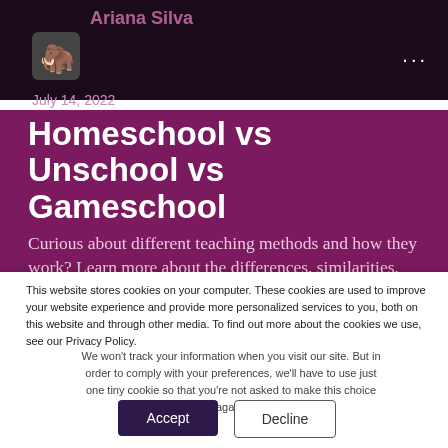Ariana Silva
July 14, 2022
Homeschool vs Unschool vs Gameschool
Curious about different teaching methods and how they work? Learn more about the differences, similarities, pros and cons of homeschooling, unschooling and gameschooling
This website stores cookies on your computer. These cookies are used to improve your website experience and provide more personalized services to you, both on this website and through other media. To find out more about the cookies we use, see our Privacy Policy.
We won't track your information when you visit our site. But in order to comply with your preferences, we'll have to use just one tiny cookie so that you're not asked to make this choice again.